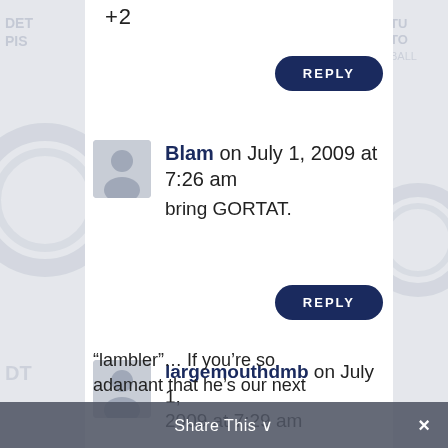+2
REPLY
Blam on July 1, 2009 at 7:26 am
bring GORTAT.
REPLY
largemouthdmb on July 1, 2009 at 7:29 am
“lambler”… If you’re so adamant that he’s our next
Share This